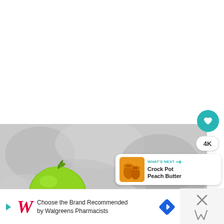[Figure (photo): Screenshot of a recipe website showing a green apple/lime on a grey blurred background, with UI overlay elements: a teal heart/favorite button, a 4K badge, a share button, a 'What's Next' card showing 'Crock Pot Peach Butter', and a Walgreens advertisement banner at the bottom.]